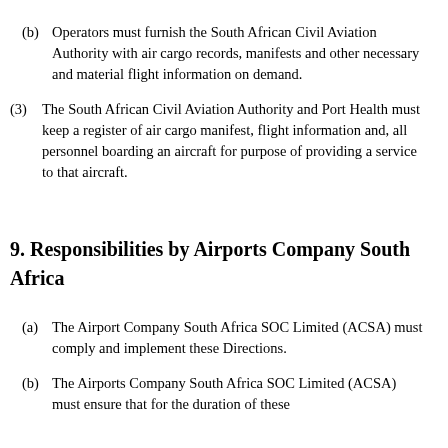(b) Operators must furnish the South African Civil Aviation Authority with air cargo records, manifests and other necessary and material flight information on demand.
(3) The South African Civil Aviation Authority and Port Health must keep a register of air cargo manifest, flight information and, all personnel boarding an aircraft for purpose of providing a service to that aircraft.
9. Responsibilities by Airports Company South Africa
(a) The Airport Company South Africa SOC Limited (ACSA) must comply and implement these Directions.
(b) The Airports Company South Africa SOC Limited (ACSA) must ensure that for the duration of these